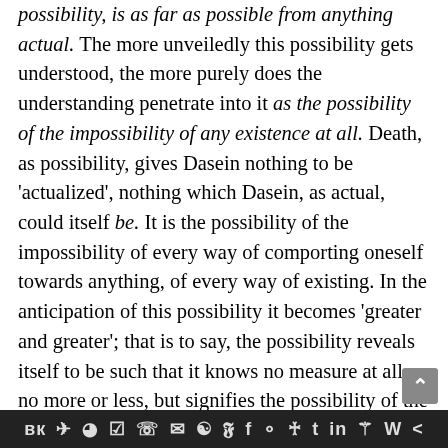possibility, is as far as possible from anything actual. The more unveiledly this possibility gets understood, the more purely does the understanding penetrate into it as the possibility of the impossibility of any existence at all. Death, as possibility, gives Dasein nothing to be 'actualized', nothing which Dasein, as actual, could itself be. It is the possibility of the impossibility of every way of comporting oneself towards anything, of every way of existing. In the anticipation of this possibility it becomes 'greater and greater'; that is to say, the possibility reveals itself to be such that it knows no measure at all, no more or less, but signifies the possibility of the measureless impossibility of
вк  ✈  reddit  WordPress  WhatsApp  ✉  layers  Twitter  Facebook  Instagram  Pinterest  Tumblr  in  gift  W  <